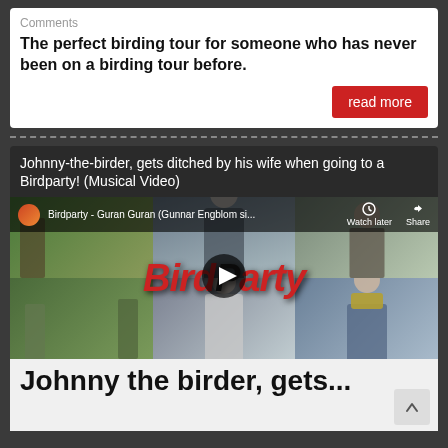Comments
The perfect birding tour for someone who has never been on a birding tour before.
read more
[Figure (screenshot): YouTube video thumbnail for 'Birdparty - Guran Guran (Gunnar Engblom si...' showing a collage of birding photos with BirdParty text overlay and play button]
Johnny-the-birder, gets ditched by his wife when going to a Birdparty! (Musical Video)
Johnny the birder, gets...